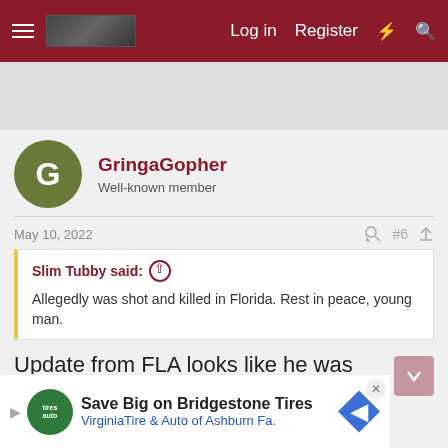Log in  Register
GringaGopher
Well-known member
May 10, 2022  #6
Slim Tubby said:
Allegedly was shot and killed in Florida. Rest in peace, young man.
Update from FLA looks like he was involved in breaking up an argument between another man and a woman. Condolences to his family and friends.
GophersInIowa and BTChamp
[Figure (screenshot): Bottom advertisement banner: Save Big on Bridgestone Tires, VirginiaTire & Auto of Ashburn Fa.]